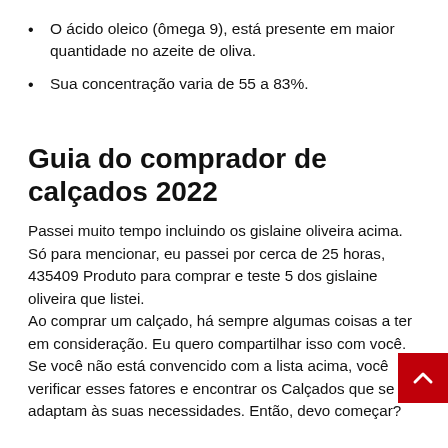O ácido oleico (ômega 9), está presente em maior quantidade no azeite de oliva.
Sua concentração varia de 55 a 83%.
Guia do comprador de calçados 2022
Passei muito tempo incluindo os gislaine oliveira acima. Só para mencionar, eu passei por cerca de 25 horas, 435409 Produto para comprar e teste 5 dos gislaine oliveira que listei.
Ao comprar um calçado, há sempre algumas coisas a ter em consideração. Eu quero compartilhar isso com você. Se você não está convencido com a lista acima, você verificar esses fatores e encontrar os Calçados que se adaptam às suas necessidades. Então, devo começar?